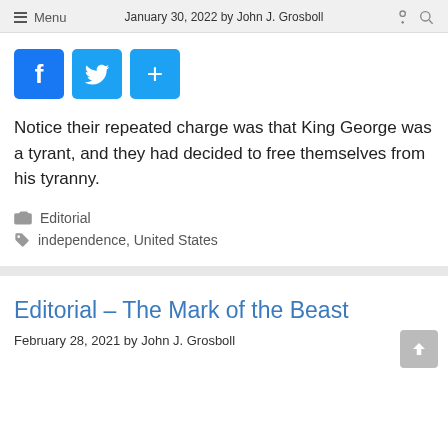January 30, 2022 by John J. Grosboll | Menu
[Figure (other): Social share buttons: Facebook (f), Twitter (bird icon), and a plus (+) share button, all in blue]
Notice their repeated charge was that King George was a tyrant, and they had decided to free themselves from his tyranny.
Editorial
independence, United States
Editorial – The Mark of the Beast
February 28, 2021 by John J. Grosboll